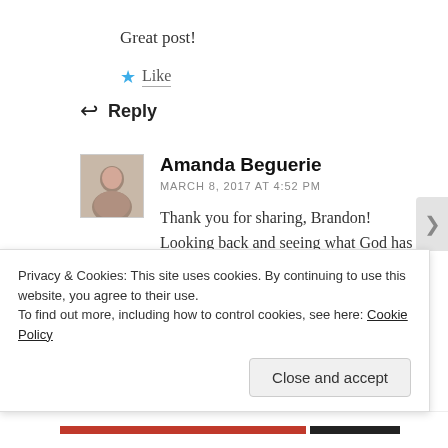Great post!
★ Like
↩ Reply
[Figure (photo): Avatar photo of Amanda Beguerie, small square thumbnail with portrait]
Amanda Beguerie
MARCH 8, 2017 AT 4:52 PM
Thank you for sharing, Brandon! Looking back and seeing what God has done is so important
Privacy & Cookies: This site uses cookies. By continuing to use this website, you agree to their use.
To find out more, including how to control cookies, see here: Cookie Policy
Close and accept